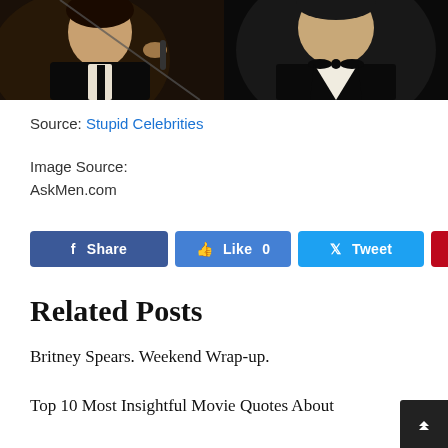[Figure (photo): Two men in formal black suits/tuxedos side by side]
Source: Stupid Celebrities
Image Source:
AskMen.com
f Share  👍 Like 0  🐦 Tweet  📌 Pin it
Related Posts
Britney Spears. Weekend Wrap-up.
Top 10 Most Insightful Movie Quotes About